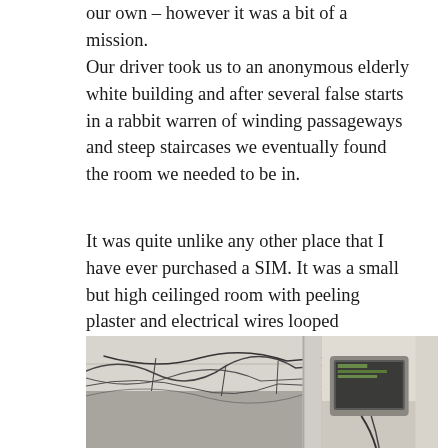our own – however it was a bit of a mission.
Our driver took us to an anonymous elderly white building and after several false starts in a rabbit warren of winding passageways and steep staircases we eventually found the room we needed to be in.
It was quite unlike any other place that I have ever purchased a SIM. It was a small but high ceilinged room with peeling plaster and electrical wires looped haphazardly around the walls. Three desks were arranged along two sides of the room and other than some uncomfortable looking chairs, the only other furniture was some functional but rickety metal shelving and a desk fan.
[Figure (photo): Interior photograph showing the ceiling of a room with electrical wires looped haphazardly. Left portion shows ceiling and wires; right portion shows part of a monitor or equipment.]